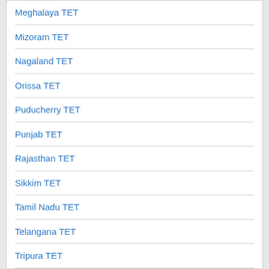Meghalaya TET
Mizoram TET
Nagaland TET
Orissa TET
Puducherry TET
Punjab TET
Rajasthan TET
Sikkim TET
Tamil Nadu TET
Telangana TET
Tripura TET
Uttar Pradesh TET
Uttarakhand TET
West Bengal TET